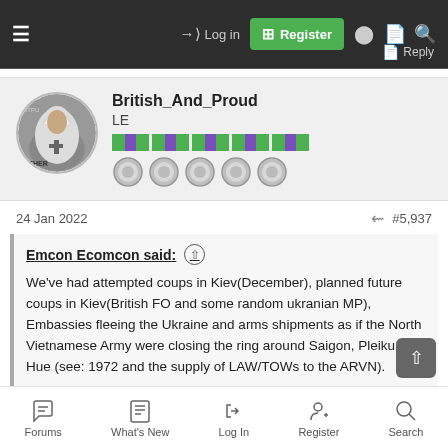≡  → Log in  Register  Reply
[Figure (illustration): Forum user avatar showing a person in white hood/robe, circular crop, with username British_And_Proud, rank LE, ribbon badges and medal icons]
British_And_Proud
LE
24 Jan 2022  #5,937
Emcon Ecomcon said: ↑

We've had attempted coups in Kiev(December), planned future coups in Kiev(British FO and some random ukranian MP), Embassies fleeing the Ukraine and arms shipments as if the North Vietnamese Army were closing the ring around Saigon, Pleiku and Hue (see: 1972 and the supply of LAW/TOWs to the ARVN).
Forums  What's New  Log In  Register  Search